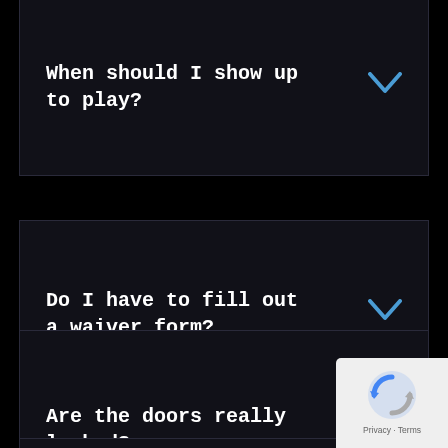When should I show up to play?
Do I have to fill out a waiver form?
Are the doors really locked?
Is there parking nearby?
[Figure (logo): Google reCAPTCHA privacy badge with shield icon and Privacy Terms text]